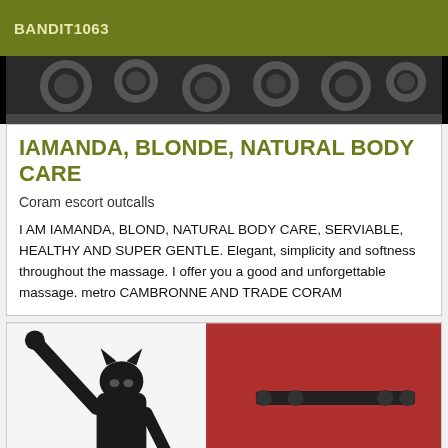BANDIT1063
[Figure (photo): Top partial image showing a black and white patterned fabric or textile background]
IAMANDA, BLONDE, NATURAL BODY CARE
Coram escort outcalls
I AM IAMANDA, BLOND, NATURAL BODY CARE, SERVIABLE, HEALTHY AND SUPER GENTLE. Elegant, simplicity and softness throughout the massage. I offer you a good and unforgettable massage. metro CAMBRONNE AND TRADE CORAM
[Figure (photo): Person wearing a black latex catsuit and cat mask with ears, standing with one arm raised, against a white wall and red panel with black hardware]